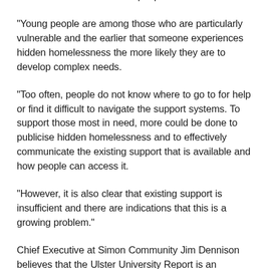homelessness can have on people.
"Young people are among those who are particularly vulnerable and the earlier that someone experiences hidden homelessness the more likely they are to develop complex needs.
"Too often, people do not know where to go to for help or find it difficult to navigate the support systems. To support those most in need, more could be done to publicise hidden homelessness and to effectively communicate the existing support that is available and how people can access it.
"However, it is also clear that existing support is insufficient and there are indications that this is a growing problem."
Chief Executive at Simon Community Jim Dennison believes that the Ulster University Report is an important first step to finding workable solutions.